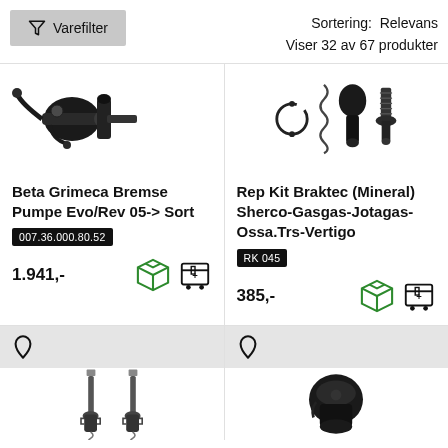Sortering: Relevans
Viser 32 av 67 produkter
[Figure (photo): Beta Grimeca brake pump Evo/Rev 05-> Sort product photo]
Beta Grimeca Bremse Pumpe Evo/Rev 05-> Sort
007.36.000.80.52
1.941,-
[Figure (photo): Rep Kit Braktec (Mineral) Sherco-Gasgas-Jotagas-Ossa.Trs-Vertigo product photo showing brake repair kit parts]
Rep Kit Braktec (Mineral) Sherco-Gasgas-Jotagas-Ossa.Trs-Vertigo
RK 045
385,-
[Figure (photo): Partial product image - brake component bolts/screws at bottom of page, left side]
[Figure (photo): Partial product image - brake component at bottom of page, right side]